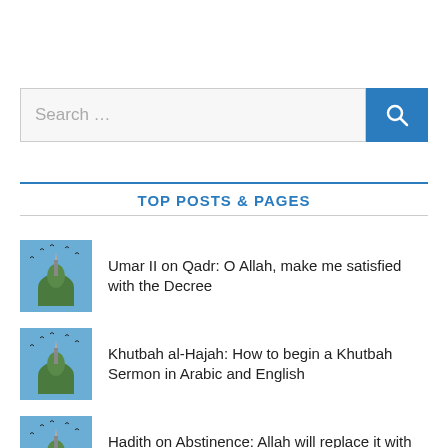Search …
TOP POSTS & PAGES
Umar II on Qadr: O Allah, make me satisfied with the Decree
Khutbah al-Hajah: How to begin a Khutbah Sermon in Arabic and English
Hadith on Abstinence: Allah will replace it with something better
Hadith on Shukr: Take advantage of